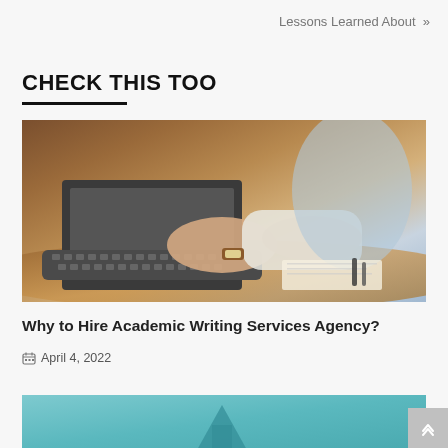Lessons Learned About »
CHECK THIS TOO
[Figure (photo): Person typing on a laptop keyboard, wearing a watch and light sweater, with papers and pens on the desk in the background]
Why to Hire Academic Writing Services Agency?
April 4, 2022
[Figure (illustration): Teal/turquoise colored illustration, partially visible at bottom of page]